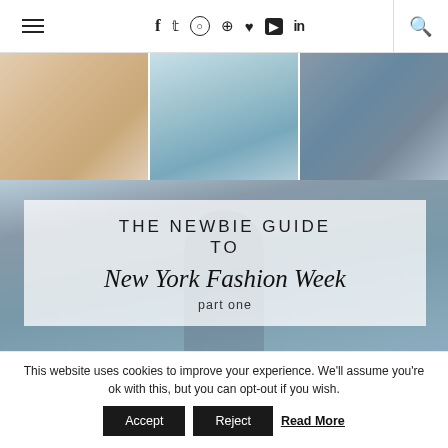≡ f t ○ ⊕ ♥ ▶ in 🔍
[Figure (photo): Top collage of three images: left shows cosmetics/beauty products on a table, center shows a person wearing a light blue hat, right shows a tiled wall/outdoor scene. Below is a large photo of a person in a white top and dark pants walking outdoors in a city setting, with a semi-transparent white overlay box displaying the title text 'THE NEWBIE GUIDE TO New York Fashion Week part one'.]
THE NEWBIE GUIDE TO New York Fashion Week part one
This website uses cookies to improve your experience. We'll assume you're ok with this, but you can opt-out if you wish.
Accept  Reject  Read More